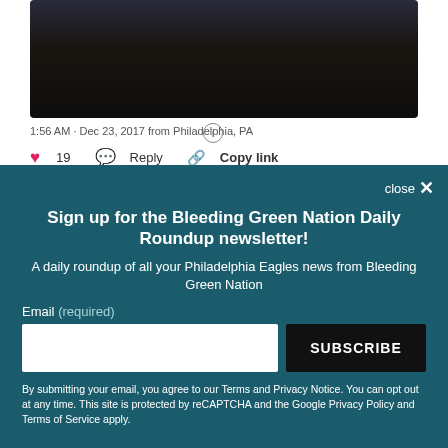[Figure (screenshot): Dark screenshot of a crowd scene from a tweet]
1:56 AM · Dec 23, 2017 from Philadelphia, PA
19  Reply  Copy link
Sign up for the Bleeding Green Nation Daily Roundup newsletter!
A daily roundup of all your Philadelphia Eagles news from Bleeding Green Nation
Email (required)
SUBSCRIBE
By submitting your email, you agree to our Terms and Privacy Notice. You can opt out at any time. This site is protected by reCAPTCHA and the Google Privacy Policy and Terms of Service apply.